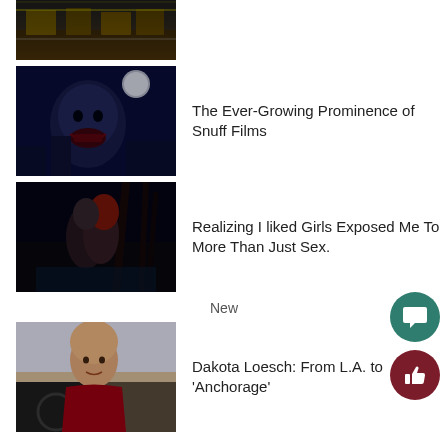[Figure (photo): Dark photo of a storefront or building interior at night with yellow/green lighting]
[Figure (photo): Dark horror-themed image of a zombie-like face with moon in background]
The Ever-Growing Prominence of Snuff Films
[Figure (photo): Dark artistic photo of two women in an embracing pose outdoors at night]
Realizing I liked Girls Exposed Me To More Than Just Sex.
New
[Figure (photo): Photo of a bald man sitting in a car, looking at camera]
Dakota Loesch: From L.A. to 'Anchorage'